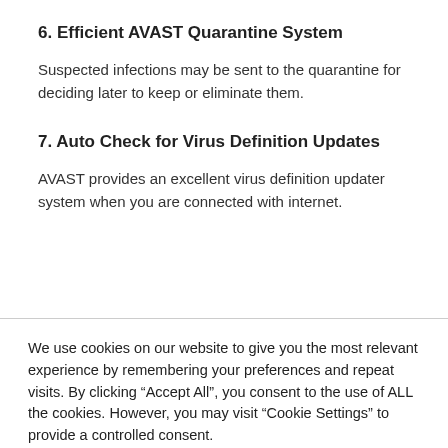6. Efficient AVAST Quarantine System
Suspected infections may be sent to the quarantine for deciding later to keep or eliminate them.
7. Auto Check for Virus Definition Updates
AVAST provides an excellent virus definition updater system when you are connected with internet.
We use cookies on our website to give you the most relevant experience by remembering your preferences and repeat visits. By clicking “Accept All”, you consent to the use of ALL the cookies. However, you may visit “Cookie Settings” to provide a controlled consent.